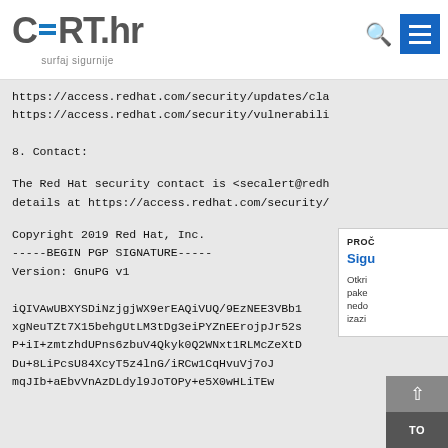CERT.hr — surfaj sigurnije
https://access.redhat.com/security/updates/cl...
https://access.redhat.com/security/vulnerabili...
8. Contact:
The Red Hat security contact is <secalert@redh...
details at https://access.redhat.com/security/...
Copyright 2019 Red Hat, Inc.
-----BEGIN PGP SIGNATURE-----
Version: GnuPG v1

iQIVAwUBXYSDiNzjgjWX9erEAQiVUQ/9EzNEE3VBb1...
xgNeuTZt7X15behgUtLM3tDg3eiPYZnEErojpJr52s...
P+iI+zmtzhdUPns6zbuV4Qkyk0Q2WNxt1RLMcZeXtD...
Du+8LiPcsU84XcyT5z4lnG/iRCw1CqHvuVj7oJ...
mqJIb+aEbvVnAzDLdyl9JoTOPy+e5X0wHLiTEw...